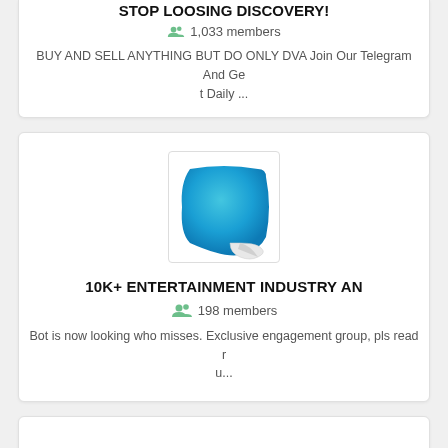STOP LOOSING DISCOVERY!
1,033 members
BUY AND SELL ANYTHING BUT DO ONLY DVA Join Our Telegram And Get Daily ...
[Figure (logo): Blue sticker/label peeling off, circular shape on white square background]
10K+ ENTERTAINMENT INDUSTRY AN
198 members
Bot is now looking who misses. Exclusive engagement group, pls read ru...